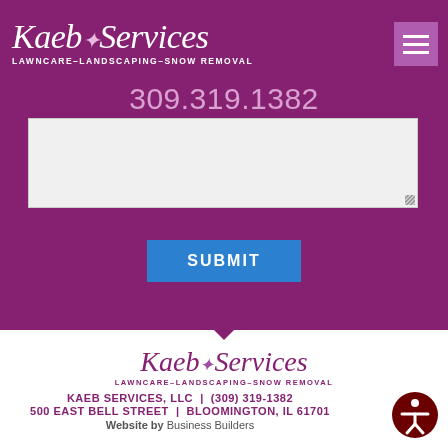[Figure (logo): Kaeb Services logo with italic script text and leaf icon, subtitle: LAWNCARE-LANDSCAPING-SNOW REMOVAL, on purple background]
309.319.1382
[Figure (screenshot): White textarea input field (partially visible, form element)]
SUBMIT
[Figure (logo): Kaeb Services footer logo with italic script text and leaf icon, subtitle: LAWNCARE-LANDSCAPING-SNOW REMOVAL, on white background]
KAEB SERVICES, LLC | (309) 319-1382
500 EAST BELL STREET | BLOOMINGTON, IL 61701
Website by Business Builders